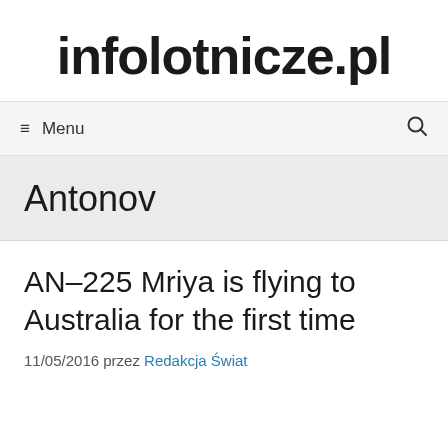infolotnicze.pl
≡ Menu
Antonov
AN–225 Mriya is flying to Australia for the first time
11/05/2016 przez Redakcja Świat